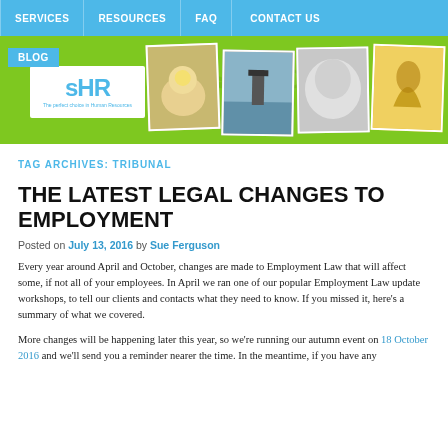SERVICES | RESOURCES | FAQ | CONTACT US
[Figure (screenshot): Website header banner with green background, sHR logo, BLOG button, and photo strip of nature/people images]
TAG ARCHIVES: TRIBUNAL
THE LATEST LEGAL CHANGES TO EMPLOYMENT
Posted on July 13, 2016 by Sue Ferguson
Every year around April and October, changes are made to Employment Law that will affect some, if not all of your employees. In April we ran one of our popular Employment Law update workshops, to tell our clients and contacts what they need to know. If you missed it, here's a summary of what we covered.
More changes will be happening later this year, so we're running our autumn event on 18 October 2016 and we'll send you a reminder nearer the time. In the meantime, if you have any